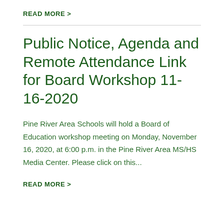READ MORE >
Public Notice, Agenda and Remote Attendance Link for Board Workshop 11-16-2020
Pine River Area Schools will hold a Board of Education workshop meeting on Monday, November 16, 2020, at 6:00 p.m. in the Pine River Area MS/HS Media Center. Please click on this...
READ MORE >